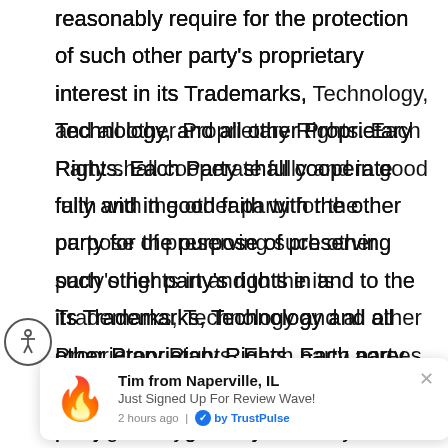reasonably require for the protection of such other party's proprietary interest in its Trademarks, Technology, and all other Proprietary Rights. Each Party shall cooperate fully and in good faith with the other party for the purpose of preserving such other party's rights in and to the its Trademarks, Technology and all other Proprietary Rights. Each party agrees to promptly notify the other party in writing of any uses, which may be infringements of the trademarks, technology or other proprietary rights which come to its attention. In the event of infringement of a party's Trademarks, Technology, and other Proprietary Right, such party alone shall have the sole right to dete... accou...
[Figure (other): TrustPulse notification popup showing a flame emoji, 'Tim from Naperville, IL', 'Just Signed Up For Review Wave!', '2 hours ago | by TrustPulse', with a close button (x). An accessibility icon button (person in circle) is visible on the left.]